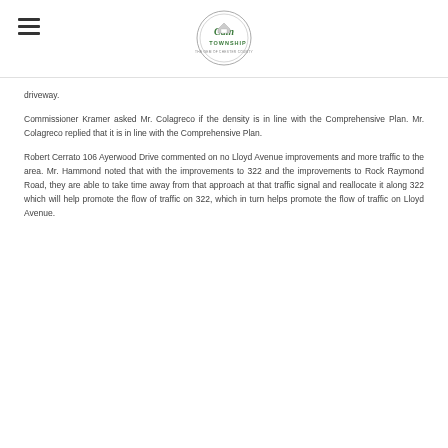Caln Township
driveway.
Commissioner Kramer asked Mr. Colagreco if the density is in line with the Comprehensive Plan. Mr. Colagreco replied that it is in line with the Comprehensive Plan.
Robert Cerrato 106 Ayerwood Drive commented on no Lloyd Avenue improvements and more traffic to the area. Mr. Hammond noted that with the improvements to 322 and the improvements to Rock Raymond Road, they are able to take time away from that approach at that traffic signal and reallocate it along 322 which will help promote the flow of traffic on 322, which in turn helps promote the flow of traffic on Lloyd Avenue.